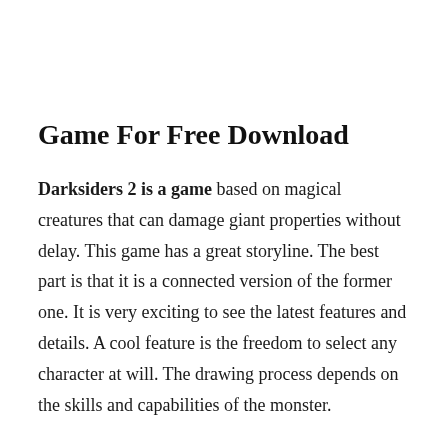Game For Free Download
Darksiders 2 is a game based on magical creatures that can damage giant properties without delay. This game has a great storyline. The best part is that it is a connected version of the former one. It is very exciting to see the latest features and details. A cool feature is the freedom to select any character at will. The drawing process depends on the skills and capabilities of the monster.
These maps are open in this Darksiders 2 – Free Download. They are amazing. It is hard to remember and you must keep going,